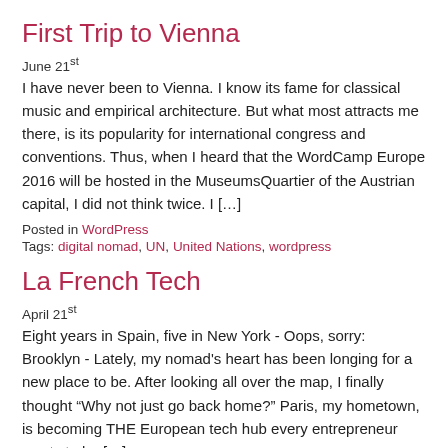First Trip to Vienna
June 21st
I have never been to Vienna. I know its fame for classical music and empirical architecture. But what most attracts me there, is its popularity for international congress and conventions. Thus, when I heard that the WordCamp Europe 2016 will be hosted in the MuseumsQuartier of the Austrian capital, I did not think twice. I […]
Posted in WordPress
Tags: digital nomad, UN, United Nations, wordpress
La French Tech
April 21st
Eight years in Spain, five in New York - Oops, sorry: Brooklyn - Lately, my nomad's heart has been longing for a new place to be. After looking all over the map, I finally thought "Why not just go back home?" Paris, my hometown, is becoming THE European tech hub every entrepreneur wants to be […]